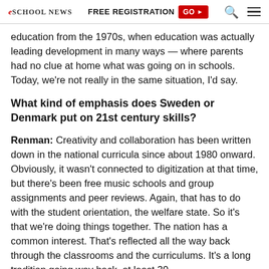eSchool News  FREE REGISTRATION  GO ▶
education from the 1970s, when education was actually leading development in many ways — where parents had no clue at home what was going on in schools. Today, we're not really in the same situation, I'd say.
What kind of emphasis does Sweden or Denmark put on 21st century skills?
Renman: Creativity and collaboration has been written down in the national curricula since about 1980 onward. Obviously, it wasn't connected to digitization at that time, but there's been free music schools and group assignments and peer reviews. Again, that has to do with the student orientation, the welfare state. So it's that we're doing things together. The nation has a common interest. That's reflected all the way back through the classrooms and the curriculums. It's a long tradition going way back, at least 30